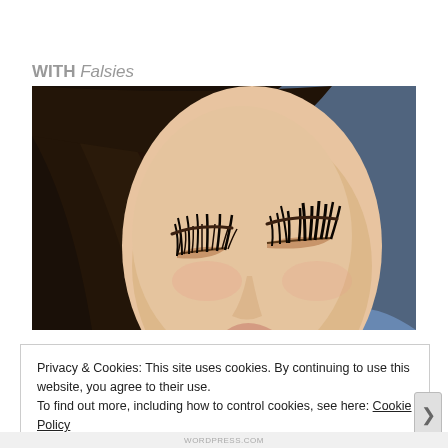WITH Falsies
[Figure (photo): Close-up photo of an Asian woman's face with eyes closed and dramatic false eyelashes, against a blue background]
Privacy & Cookies: This site uses cookies. By continuing to use this website, you agree to their use.
To find out more, including how to control cookies, see here: Cookie Policy
Close and accept